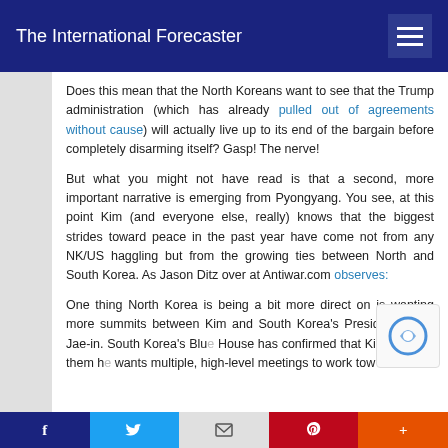The International Forecaster
Does this mean that the North Koreans want to see that the Trump administration (which has already pulled out of agreements without cause) will actually live up to its end of the bargain before completely disarming itself? Gasp! The nerve!
But what you might not have read is that a second, more important narrative is emerging from Pyongyang. You see, at this point Kim (and everyone else, really) knows that the biggest strides toward peace in the past year have come not from any NK/US haggling but from the growing ties between North and South Korea. As Jason Ditz over at Antiwar.com observes:
One thing North Korea is being a bit more direct on is wanting more summits between Kim and South Korea's President Moon Jae-in. South Korea's Blue House has confirmed that Kim has told them he wants multiple, high-level meetings to work tow...
f  t  ✉  P  +